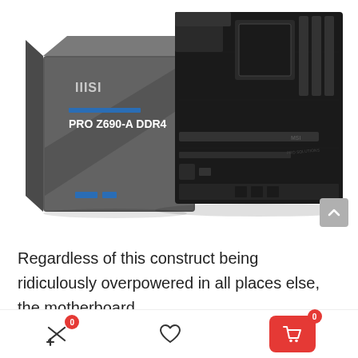[Figure (photo): MSI PRO Z690-A DDR4 motherboard shown next to its retail box. The box is dark grey with MSI logo, 'PRO MOTHERBOARD' text and 'PRO Z690-A DDR4' branding. The motherboard itself is black ATX form factor with multiple PCIe slots, DDR4 memory slots, and various connectors visible.]
Regardless of this construct being ridiculously overpowered in all places else, the motherboard